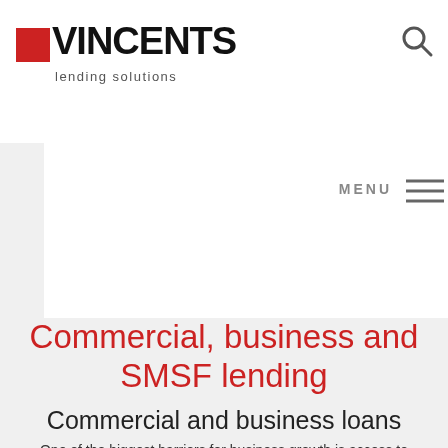VINCENTS lending solutions
Commercial, business and SMSF lending
Commercial and business loans
One of the biggest barriers for business growth is access to finance.
At Vincents we recognise that every business is different,